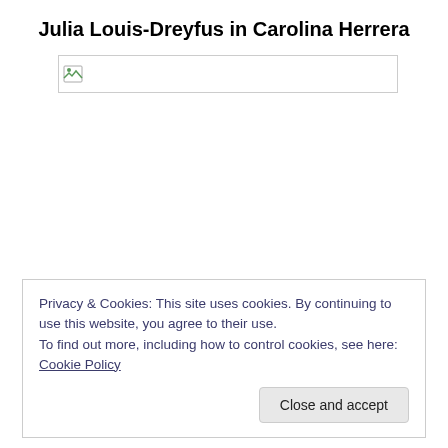Julia Louis-Dreyfus in Carolina Herrera
[Figure (photo): Broken image placeholder — a small image icon with a border indicating a photo that failed to load]
Privacy & Cookies: This site uses cookies. By continuing to use this website, you agree to their use.
To find out more, including how to control cookies, see here: Cookie Policy